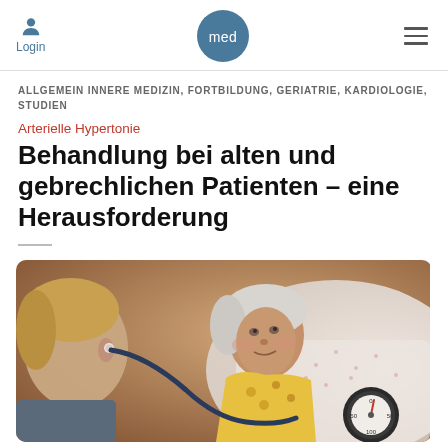Login | med | ≡
ALLGEMEIN INNERE MEDIZIN, FORTBILDUNG, GERIATRIE, KARDIOLOGIE, STUDIEN
Arterielle Hypertonie
Behandlung bei alten und gebrechlichen Patienten – eine Herausforderung
[Figure (photo): Doctor using stethoscope on an elderly woman lying in bed with white pillow and floral blouse, blood pressure gauge visible in foreground]